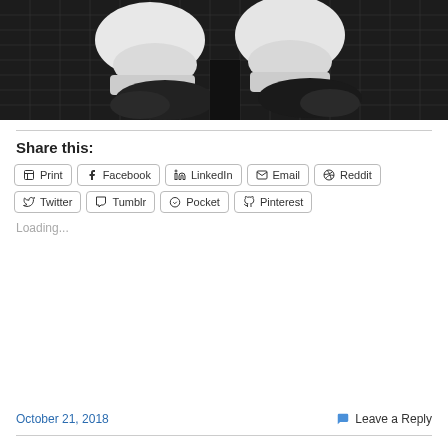[Figure (photo): Close-up photo of white fabric mittens/gloves and black shoes on a black grid cutting mat]
Share this:
Print | Facebook | LinkedIn | Email | Reddit | Twitter | Tumblr | Pocket | Pinterest
Loading...
October 21, 2018
Leave a Reply